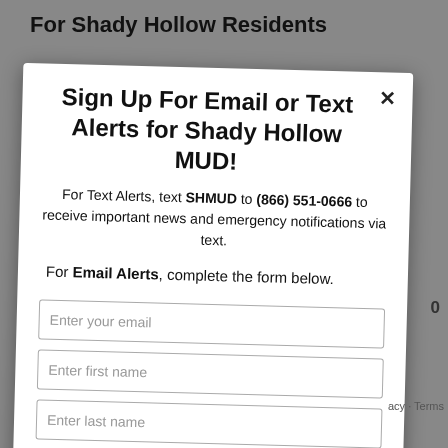For Shady Hollow Residents
Sign Up For Email or Text Alerts for Shady Hollow MUD!
For Text Alerts, text SHMUD to (866) 551-0666 to receive important news and emergency notifications via text.
For Email Alerts, complete the form below.
Enter your email
Enter first name
Enter last name